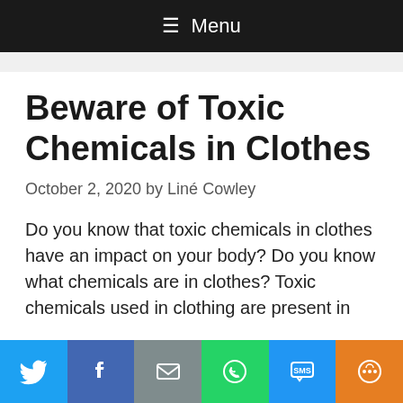≡ Menu
Beware of Toxic Chemicals in Clothes
October 2, 2020 by Liné Cowley
Do you know that toxic chemicals in clothes have an impact on your body? Do you know what chemicals are in clothes? Toxic chemicals used in clothing are present in natural and synthetic fibers and…
[Figure (infographic): Social share bar with Twitter, Facebook, Email, WhatsApp, SMS, and More buttons]